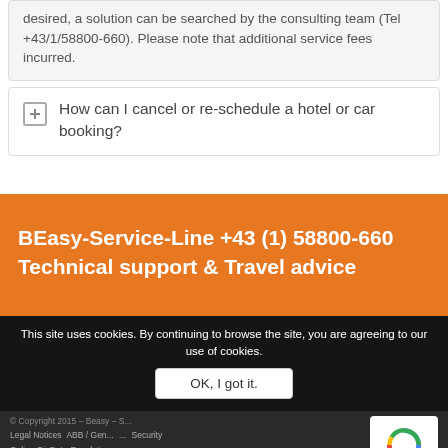desired, a solution can be searched by the consulting team (Tel +43/1/58800-660). Please note that additional service fees incurred.
How can I cancel or re-schedule a hotel or car booking?
BEasy-Service-Line +43 (1) 58800-660 Technical support & Travel advice
This site uses cookies. By continuing to browse the site, you are agreeing to our use of cookies.
OK, I got it.
© Copyright 2015 – Beasy – S... Legal Notices   ABB / Gen...   ...   Security   Online-DisDute-Resolution